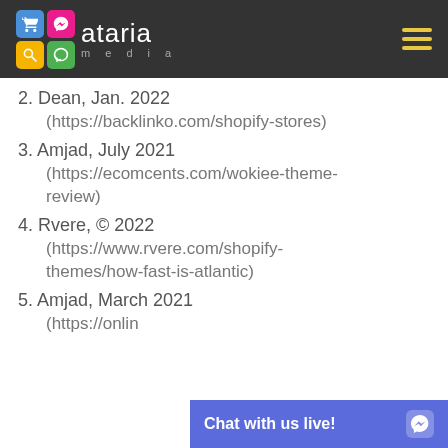ataria media
2. Dean, Jan. 2022 (https://backlinko.com/shopify-stores)
3. Amjad, July 2021 (https://ecomcents.com/wokiee-theme-review)
4. Rvere, © 2022 (https://www.rvere.com/shopify-themes/how-fast-is-atlantic)
5. Amjad, March 2021 (https://onlin...ut